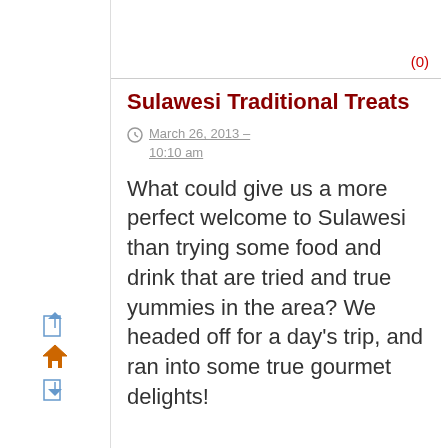(0)
Sulawesi Traditional Treats
March 26, 2013 – 10:10 am
What could give us a more perfect welcome to Sulawesi than trying some food and drink that are tried and true yummies in the area? We headed off for a day's trip, and ran into some true gourmet delights!
[Figure (illustration): Navigation icons: document with arrow, house, document with arrow down]
[Figure (illustration): Four country flag icons: French flag, German flag, Spanish flag, Italian flag]